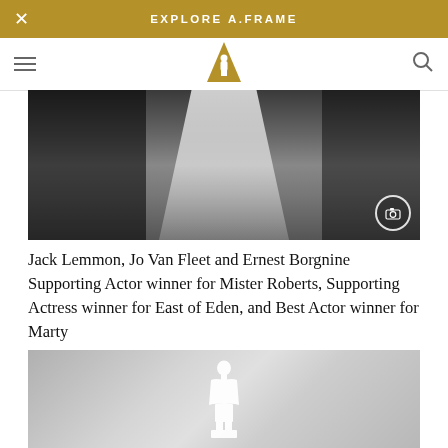EXPLORE A.FRAME
[Figure (photo): Black and white photograph showing Jack Lemmon, Jo Van Fleet and Ernest Borgnine, with a wedding veil visible in center. Camera icon overlay in bottom right corner.]
Jack Lemmon, Jo Van Fleet and Ernest Borgnine Supporting Actor winner for Mister Roberts, Supporting Actress winner for East of Eden, and Best Actor winner for Marty
[Figure (photo): Gray placeholder image with white Oscar statuette silhouette in center.]